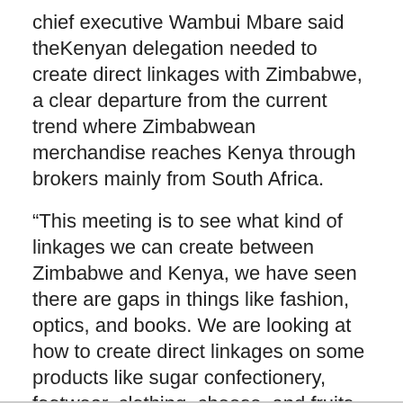chief executive Wambui Mbare said theKenyan delegation needed to create direct linkages with Zimbabwe, a clear departure from the current trend where Zimbabwean merchandise reaches Kenya through brokers mainly from South Africa.
“This meeting is to see what kind of linkages we can create between Zimbabwe and Kenya, we have seen there are gaps in things like fashion, optics, and books. We are looking at how to create direct linkages on some products like sugar confectionery, footwear, clothing, cheese, and fruits, so we want to create linkages so that it is a direct trade vis a vis having to go through a second country for it to get into Kenya.